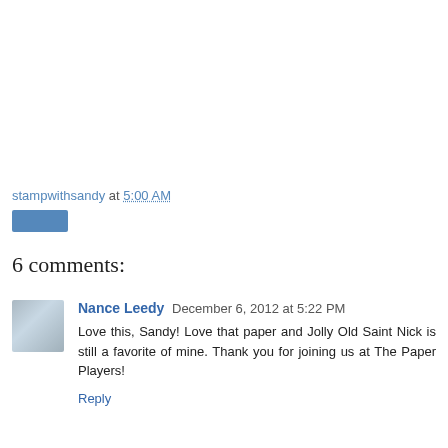stampwithsandy at 5:00 AM
[Figure (other): Blue button/email share button]
6 comments:
Nance Leedy December 6, 2012 at 5:22 PM
Love this, Sandy! Love that paper and Jolly Old Saint Nick is still a favorite of mine. Thank you for joining us at The Paper Players!
Reply